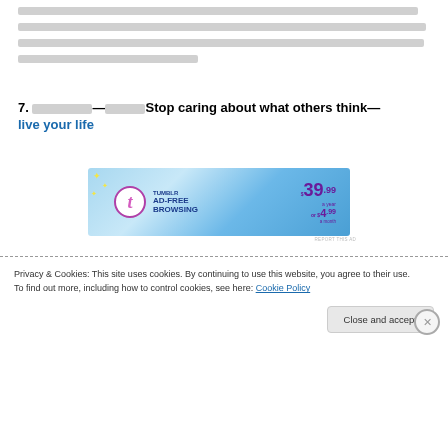[placeholder text lines — redacted content block spanning 4 lines]
7. [placeholder]—[placeholder]Stop caring about what others think—live your life
[Figure (other): Tumblr AD-FREE BROWSING advertisement banner. Price shown as $39.99 a year or $4.99 a month.]
Privacy & Cookies: This site uses cookies. By continuing to use this website, you agree to their use.
To find out more, including how to control cookies, see here: Cookie Policy
Close and accept